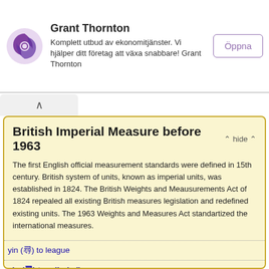[Figure (logo): Grant Thornton purple circular logo]
Grant Thornton
Komplett utbud av ekonomitjänster. Vi hjälper ditt företag att växa snabbare! Grant Thornton
Öppna
British Imperial Measure before 1963
The first English official measurement standards were defined in 15th century. British system of units, known as imperial units, was established in 1824. The British Weights and Meausurements Act of 1824 repealed all existing British measures legislation and redefined existing units. The 1963 Weights and Measures Act standartized the international measures.
yin (尋) to league
yin (尋) to mile (mi)
yin (尋) to land
yin (尋) to skein
yin (尋) to bolt
yin (尋) to shackle
yin (尋) to furlong